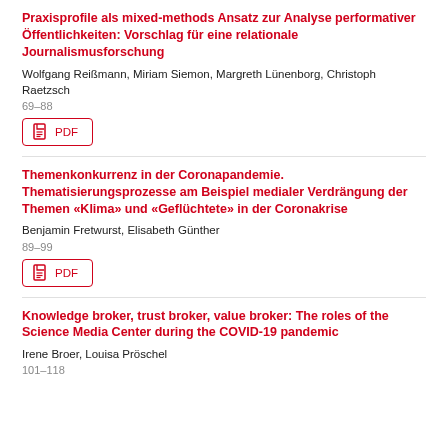Praxisprofile als mixed-methods Ansatz zur Analyse performativer Öffentlichkeiten: Vorschlag für eine relationale Journalismusforschung
Wolfgang Reißmann, Miriam Siemon, Margreth Lünenborg, Christoph Raetzsch
69–88
Themenkonkurrenz in der Coronapandemie. Thematisierungsprozesse am Beispiel medialer Verdrängung der Themen «Klima» und «Geflüchtete» in der Coronakrise
Benjamin Fretwurst, Elisabeth Günther
89–99
Knowledge broker, trust broker, value broker: The roles of the Science Media Center during the COVID-19 pandemic
Irene Broer, Louisa Pröschel
101–118